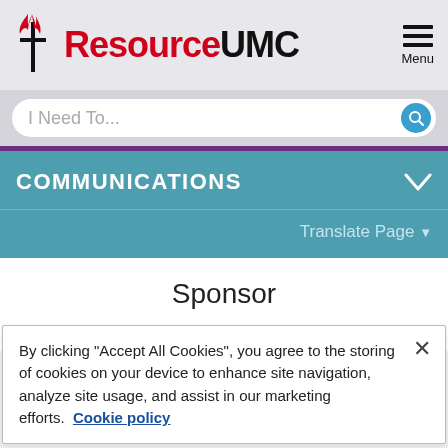[Figure (logo): ResourceUMC logo with UMC flame cross symbol on the left, 'Resource' in red bold and 'UMC' in black bold text]
COMMUNICATIONS
Translate Page ▼
Sponsor
Home / Agencies / Communications /
By clicking "Accept All Cookies", you agree to the storing of cookies on your device to enhance site navigation, analyze site usage, and assist in our marketing efforts.   Cookie policy